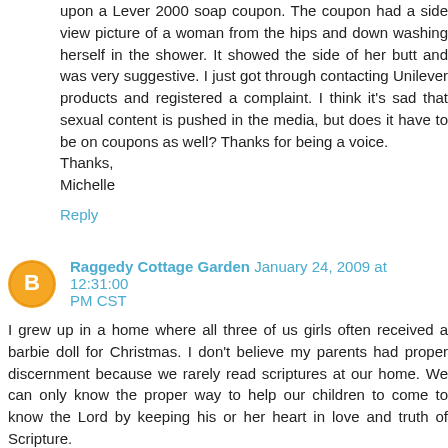upon a Lever 2000 soap coupon. The coupon had a side view picture of a woman from the hips and down washing herself in the shower. It showed the side of her butt and was very suggestive. I just got through contacting Unilever products and registered a complaint. I think it's sad that sexual content is pushed in the media, but does it have to be on coupons as well? Thanks for being a voice.
Thanks,
Michelle
Reply
Raggedy Cottage Garden  January 24, 2009 at 12:31:00 PM CST
I grew up in a home where all three of us girls often received a barbie doll for Christmas. I don't believe my parents had proper discernment because we rarely read scriptures at our home. We can only know the proper way to help our children to come to know the Lord by keeping his or her heart in love and truth of Scripture.
By giving a child a mean looking bad-guy creature or power